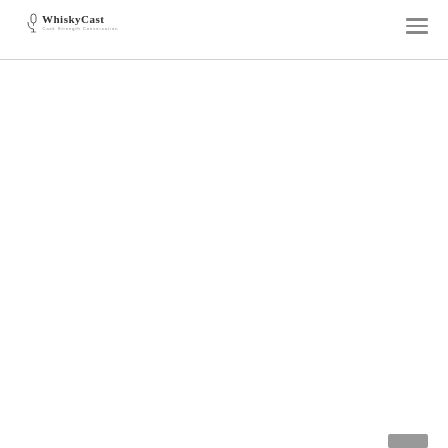WhiskyCast — Cask Strength Conversation
[Figure (logo): WhiskyCast logo with microphone icon and text 'WhiskyCast' with subtitle 'Cask Strength Conversation']
[Figure (other): Hamburger menu icon (three horizontal lines) in top right corner]